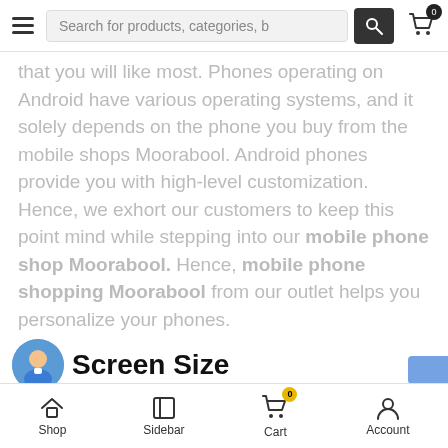Search for products, categories, b
that you will like most. Phones operating on Android have various operating systems, and it solely depends on the phone you buy from the mobile shops Moorabool. Android phones provide you with high-level customization. Hence, we exhort our customers to keep this point mind while stepping into our mobile phone shop Moorabool. Hence, mobile phone shopping Moorabool from our outlet helps you personalize your phones.
Screen Size
online cell phone store Moorabool brings you phones of varied screen sizes. You can find large, mid-sized an
Shop  Sidebar  Cart  Account